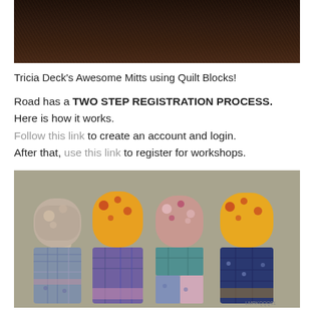[Figure (photo): Top portion of a dark brown/black background photo, partially cut off at top of page]
Tricia Deck’s Awesome Mitts using Quilt Blocks!
Road has a TWO STEP REGISTRATION PROCESS. Here is how it works. Follow this link to create an account and login. After that, use this link to register for workshops.
[Figure (photo): Photo of four colorful quilted oven mitts made from quilt blocks in various patterned fabrics including floral and plaid prints in orange, blue, grey, pink, and purple colors, standing upright against a grey background]